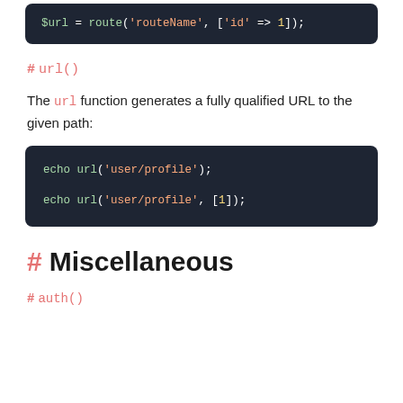[Figure (screenshot): Code block showing: $url = route('routeName', ['id' => 1]);]
# url()
The url function generates a fully qualified URL to the given path:
[Figure (screenshot): Code block showing: echo url('user/profile'); echo url('user/profile', [1]);]
# Miscellaneous
# auth()